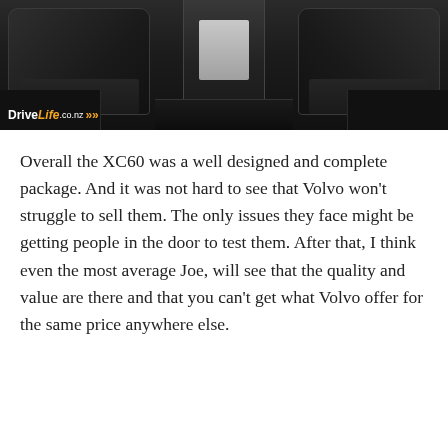[Figure (photo): Interior photo of a Volvo XC60 showing dark leather seats, center console, and dashboard. DriveLife.co.nz logo/watermark in bottom-left corner.]
Overall the XC60 was a well designed and complete package. And it was not hard to see that Volvo won't struggle to sell them. The only issues they face might be getting people in the door to test them. After that, I think even the most average Joe, will see that the quality and value are there and that you can't get what Volvo offer for the same price anywhere else.